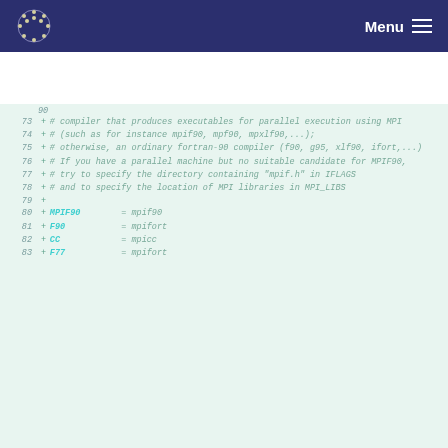Menu
Code diff showing lines 73-83 of a Makefile with MPI compiler configuration comments and variable assignments: MPIF90 = mpif90, F90 = mpifort, CC = mpicc, F77 = mpifort